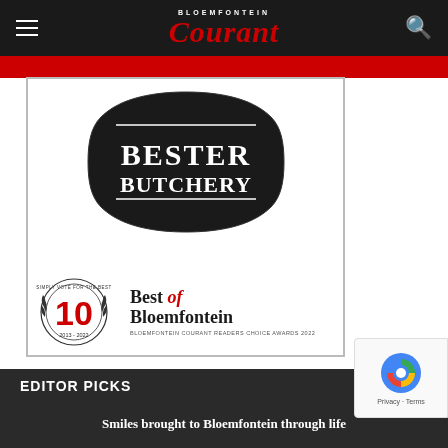Bloemfontein Courant
[Figure (logo): Bester Butchery advertisement with Best of Bloemfontein 2022 Readers Choice Award logo. Black shield-shaped badge with BESTER BUTCHERY text, and '10 Best of Bloemfontein - Bloemfontein Courant Readers Choice Awards 2022' seal.]
EDITOR PICKS
Smiles brought to Bloemfontein through life